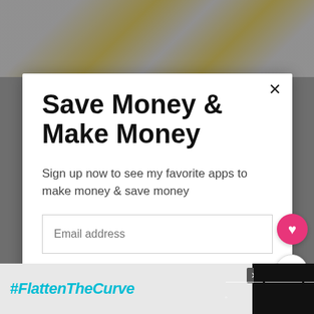[Figure (photo): Background showing jewelry chains (silver and gold) on a light surface, partially visible behind a modal dialog]
Save Money & Make Money
Sign up now to see my favorite apps to make money & save money
Email address
Get It Now
[Figure (infographic): "WHAT'S NEXT" widget with book image and text: Gardening Books Gift...]
#FlattenTheCurve
[Figure (logo): Dark logo area with three dots on right side of bottom bar]